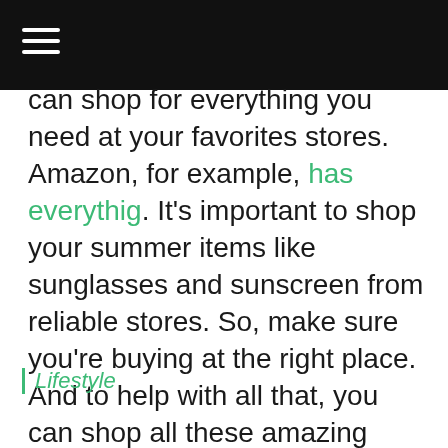[hamburger menu icon on dark header bar]
can shop for everything you need at your favorites stores. Amazon, for example, has everythig. It’s important to shop your summer items like sunglasses and sunscreen from reliable stores. So, make sure you’re buying at the right place. And to help with all that, you can shop all these amazing items with coupons and Turbo Cash Back. Have fun!
Lifestyle